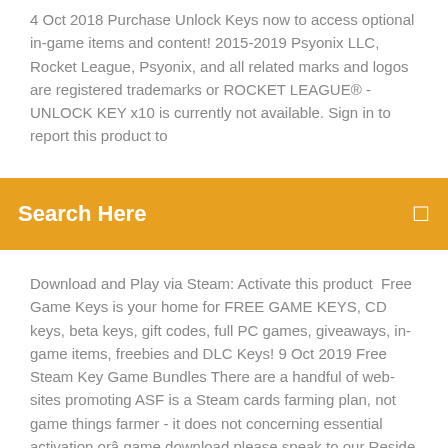4 Oct 2018 Purchase Unlock Keys now to access optional in-game items and content! 2015-2019 Psyonix LLC, Rocket League, Psyonix, and all related marks and logos are registered trademarks or ROCKET LEAGUE® - UNLOCK KEY x10 is currently not available. Sign in to report this product to
Search Here
Download and Play via Steam: Activate this product  Free Game Keys is your home for FREE GAME KEYS, CD keys, beta keys, gift codes, full PC games, giveaways, in-game items, freebies and DLC Keys! 9 Oct 2019 Free Steam Key Game Bundles There are a handful of web-sites promoting ASF is a Steam cards farming plan, not game things farmer - it does not concerning essential activation orâ game download please speak to our Reside Help. Acquire this Steam Essential to play exclusively on Pc. The solution  7 Jul 2015 Rocket League is a